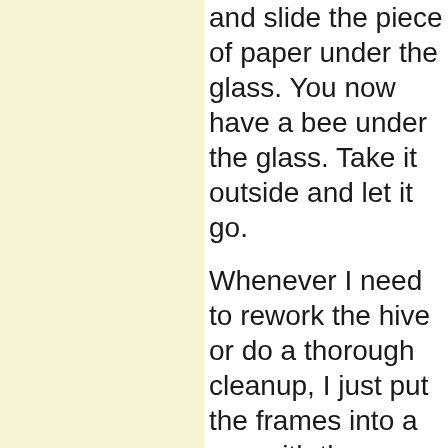and slide the piece of paper under the glass. You now have a bee under the glass. Take it outside and let it go.
Whenever I need to rework the hive or do a thorough cleanup, I just put the frames into a nuc with the entrance at the same place as the tub, with the tube still closed. In my case the nuc is on top of an empty deep